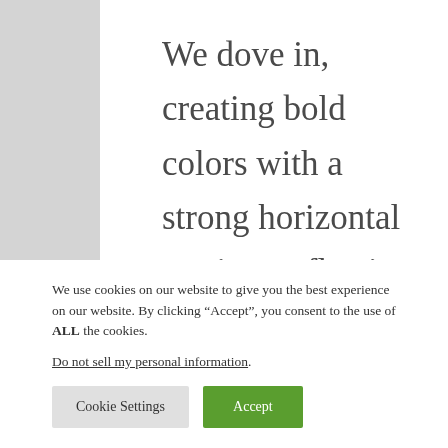We dove in, creating bold colors with a strong horizontal motion, reflective of the packaging, with flavor-forward, hand-drawn typography and illustrations. We led product ideation workshops to support new product development as well as built merchandising, field collateral,
We use cookies on our website to give you the best experience on our website. By clicking “Accept”, you consent to the use of ALL the cookies.
Do not sell my personal information.